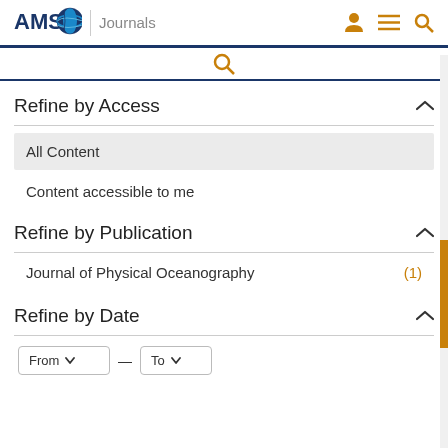AMS Journals
Refine by Access
All Content
Content accessible to me
Refine by Publication
Journal of Physical Oceanography (1)
Refine by Date
From — To